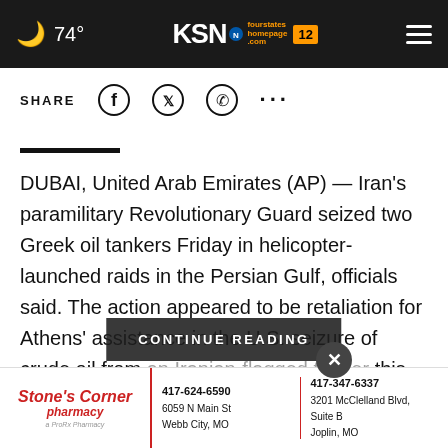🌙 74° | KSN fourstates homepage .com 12
SHARE
DUBAI, United Arab Emirates (AP) — Iran's paramilitary Revolutionary Guard seized two Greek oil tankers Friday in helicopter-launched raids in the Persian Gulf, officials said. The action appeared to be retaliation for Athens' assistance in the U.S. seizure of crude oil from an Iranian-flagged tanker this week in the Mediterranean ashington's
CONTINUE READING
[Figure (logo): Stone's Corner Pharmacy advertisement banner with phone numbers and addresses for Webb City MO and Joplin MO locations]